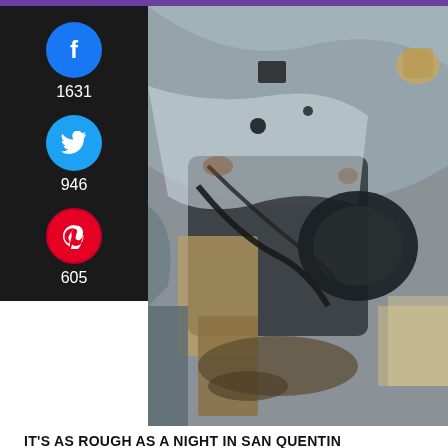[Figure (photo): Interior engine bay / undercarriage of a heavily rusted and deteriorated old truck, stripped of most parts, with dirt and debris visible]
IT'S AS ROUGH AS A NIGHT IN SAN QUENTIN
We met at a local shopping center, and I followed him to his house. As we pulled up, I could see that this wasn't the house that was in the Craigslist ad. The truck was now tucked away in the far corner of the backyard. As I walked up to it, my heart sank. It's condition was way worse than it looked in the Craigslist